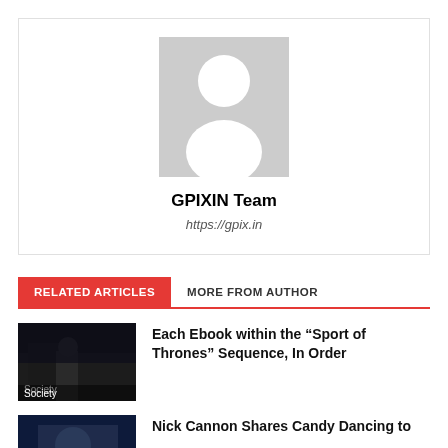[Figure (photo): Author avatar placeholder with grey silhouette of a person on grey background]
GPIXIN Team
https://gpix.in
RELATED ARTICLES    MORE FROM AUTHOR
[Figure (photo): Dark screenshot from Game of Thrones with a person, labeled Society]
Each Ebook within the “Sport of Thrones” Sequence, In Order
[Figure (photo): Dark blue photo, partial view of article about Nick Cannon]
Nick Cannon Shares Candy Dancing to